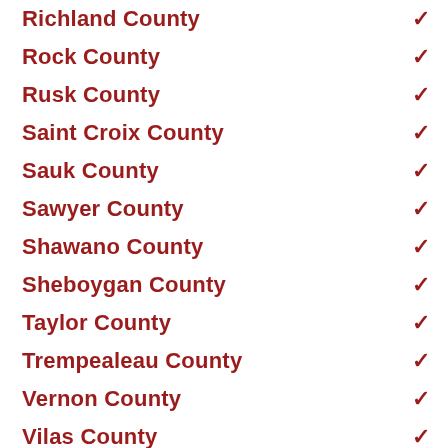Richland County
Rock County
Rusk County
Saint Croix County
Sauk County
Sawyer County
Shawano County
Sheboygan County
Taylor County
Trempealeau County
Vernon County
Vilas County